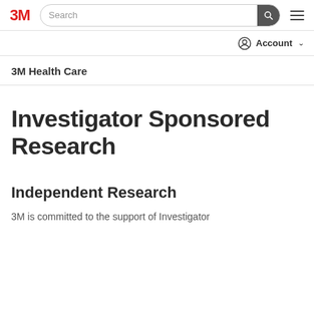3M | Search | Account
3M Health Care
Investigator Sponsored Research
Independent Research
3M is committed to the support of Investigator